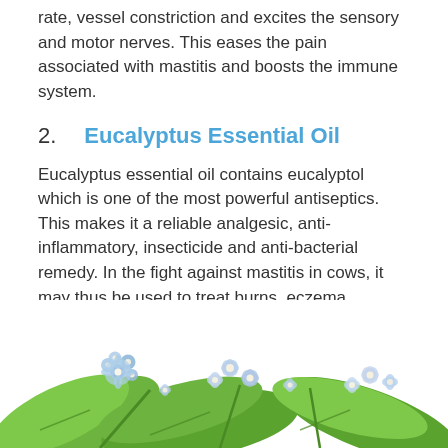rate, vessel constriction and excites the sensory and motor nerves. This eases the pain associated with mastitis and boosts the immune system.
2.   Eucalyptus Essential Oil
Eucalyptus essential oil contains eucalyptol which is one of the most powerful antiseptics. This makes it a reliable analgesic, anti-inflammatory, insecticide and anti-bacterial remedy. In the fight against mastitis in cows, it may thus be used to treat burns, eczema, wounds and control external parasites.
[Figure (photo): Photo of blue/purple small flowers with green leaves on white background]